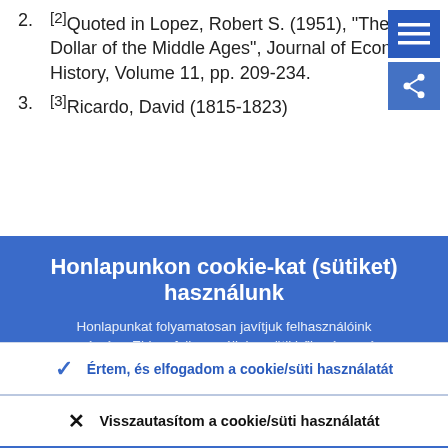2. [2]Quoted in Lopez, Robert S. (1951), "The Dollar of the Middle Ages", Journal of Economic History, Volume 11, pp. 209-234.
3. [3]Ricardo, David (1815-1823)
Honlapunkon cookie-kat (sütiket) használunk
Honlapunkat folyamatosan javítjuk felhasználóink számára. Ehhez felhasználjuk a sütikből származó anonim adatokat.
Ismerje meg, hogyan alkalmazzuk a cookie-t/sütit!
Értem, és elfogadom a cookie/süti használatát
Visszautasítom a cookie/süti használatát